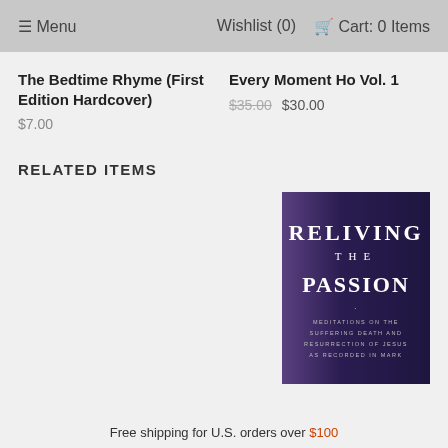≡ Menu   Wishlist (0)   🛒 Cart: 0 Items
The Bedtime Rhyme (First Edition Hardcover)
$7.00
Every Moment Ho Vol. 1
$35.00  $30.00
RELATED ITEMS
[Figure (photo): Book cover of 'Reliving The Passion' with dark purple background and white text. Subtitle reads: Meditations on the Suffering Death and Resurrection of Jesus as Recorded in Mark]
Free shipping for U.S. orders over $100